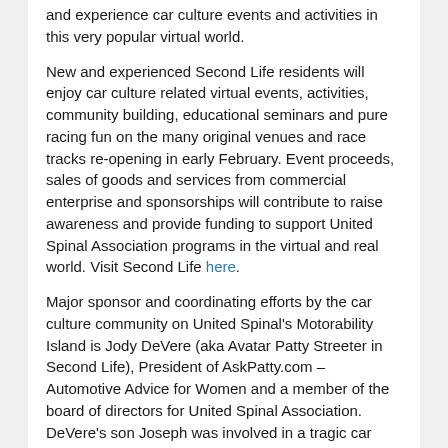and experience car culture events and activities in this very popular virtual world.
New and experienced Second Life residents will enjoy car culture related virtual events, activities, community building, educational seminars and pure racing fun on the many original venues and race tracks re-opening in early February. Event proceeds, sales of goods and services from commercial enterprise and sponsorships will contribute to raise awareness and provide funding to support United Spinal Association programs in the virtual and real world. Visit Second Life here.
Major sponsor and coordinating efforts by the car culture community on United Spinal's Motorability Island is Jody DeVere (aka Avatar Patty Streeter in Second Life), President of AskPatty.com – Automotive Advice for Women and a member of the board of directors for United Spinal Association. DeVere's son Joseph was involved in a tragic car accident in 2005 which resulted in paraplegia. This event created a big passion in her to help provide non-traditional recreational and quality of life programs for disabled Americans.
'I am so grateful for the opportunity to have been a participant in Pontiac's Motorati Island car culture community development in Second Life during 2007, what an awesome roller coaster learning curve experience. I want to thank